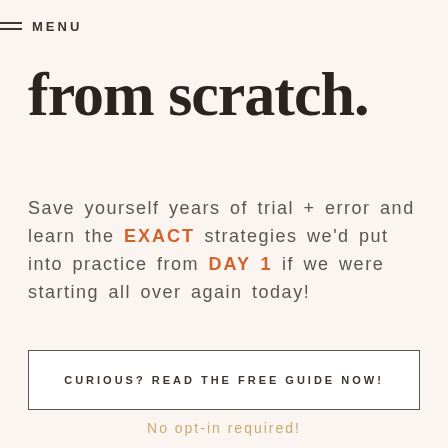MENU
from scratch.
Save yourself years of trial + error and learn the EXACT strategies we'd put into practice from DAY 1 if we were starting all over again today!
CURIOUS? READ THE FREE GUIDE NOW!
No opt-in required!